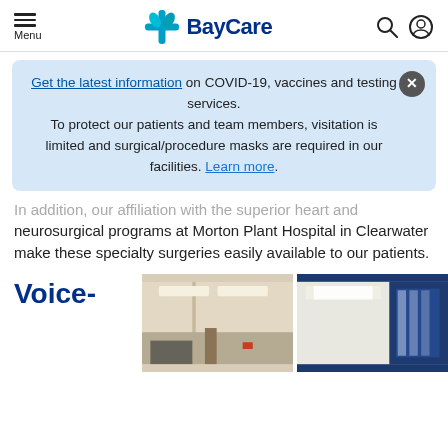Menu | BayCare
Get the latest information on COVID-19, vaccines and testing services. To protect our patients and team members, visitation is limited and surgical/procedure masks are required in our facilities. Learn more.
In addition, our affiliation with the superior heart and neurosurgical programs at Morton Plant Hospital in Clearwater make these specialty surgeries easily available to our patients.
Voice-
[Figure (photo): Two hospital room interior photos side by side showing medical facility rooms with ceiling lights.]